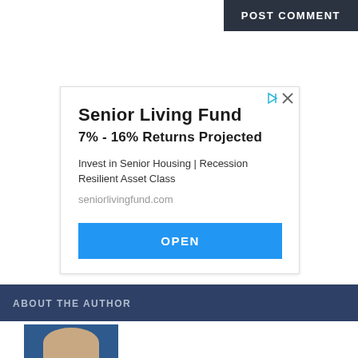POST COMMENT
[Figure (infographic): Advertisement for Senior Living Fund showing title 'Senior Living Fund', subtitle '7% - 16% Returns Projected', description text 'Invest in Senior Housing | Recession Resilient Asset Class', URL 'seniorlivingfund.com', and a blue OPEN button. Has ad icons (play and close) in upper right corner.]
ABOUT THE AUTHOR
[Figure (photo): Partial photo of author, showing top of head against blue background]